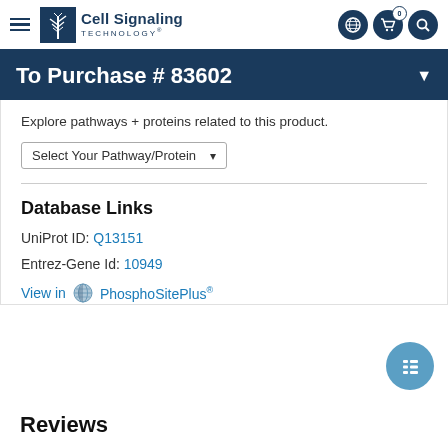Cell Signaling Technology
To Purchase # 83602
Explore pathways + proteins related to this product.
Select Your Pathway/Protein
Database Links
UniProt ID: Q13151
Entrez-Gene Id: 10949
View in PhosphoSitePlus®
Reviews